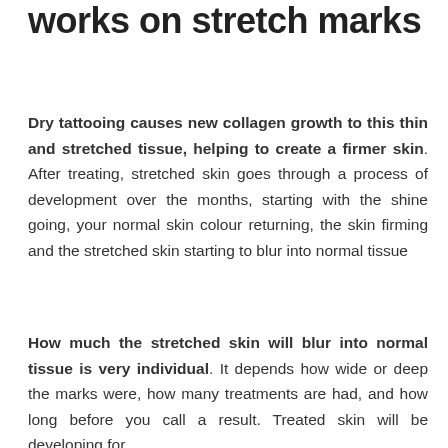works on stretch marks
Dry tattooing causes new collagen growth to this thin and stretched tissue, helping to create a firmer skin. After treating, stretched skin goes through a process of development over the months, starting with the shine going, your normal skin colour returning, the skin firming and the stretched skin starting to blur into normal tissue
How much the stretched skin will blur into normal tissue is very individual. It depends how wide or deep the marks were, how many treatments are had, and how long before you call a result. Treated skin will be developing for